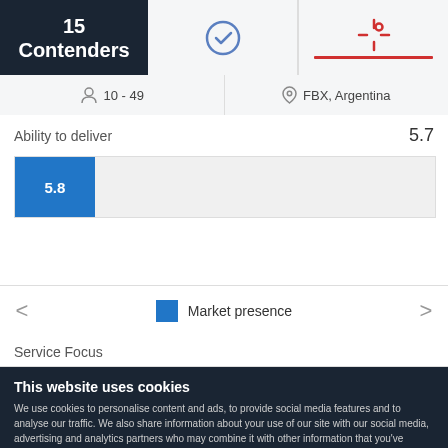15 Contenders
[Figure (screenshot): Navigation icons: checkmark circle icon and red target/crosshair icon indicating active tab]
10 - 49   FBX, Argentina
Ability to deliver
5.7
[Figure (bar-chart): Ability to deliver bar]
Market presence
Service Focus
This website uses cookies
We use cookies to personalise content and ads, to provide social media features and to analyse our traffic. We also share information about your use of our site with our social media, advertising and analytics partners who may combine it with other information that you've provided to them or that they've collected from your use of their services. You agree to our cookies if you continue to use our website.
Close
Show details